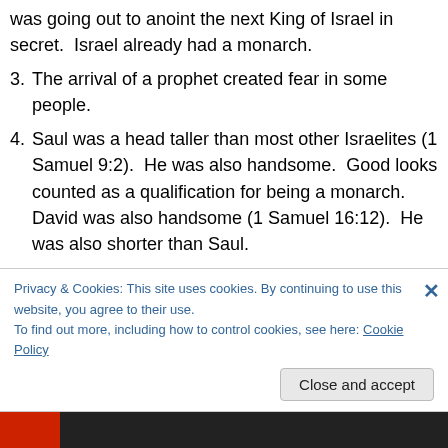was going out to anoint the next King of Israel in secret. Israel already had a monarch.
3. The arrival of a prophet created fear in some people.
4. Saul was a head taller than most other Israelites (1 Samuel 9:2). He was also handsome. Good looks counted as a qualification for being a monarch. David was also handsome (1 Samuel 16:12). He was also shorter than Saul.
5. God told Samuel to pay no attention to the conventional standards of appearance and height.
6. David, the youngest of eight sons of Jesse, was God's
Privacy & Cookies: This site uses cookies. By continuing to use this website, you agree to their use.
To find out more, including how to control cookies, see here: Cookie Policy
Close and accept